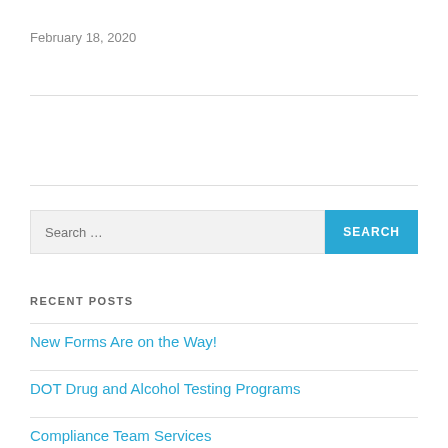February 18, 2020
RECENT POSTS
New Forms Are on the Way!
DOT Drug and Alcohol Testing Programs
Compliance Team Services